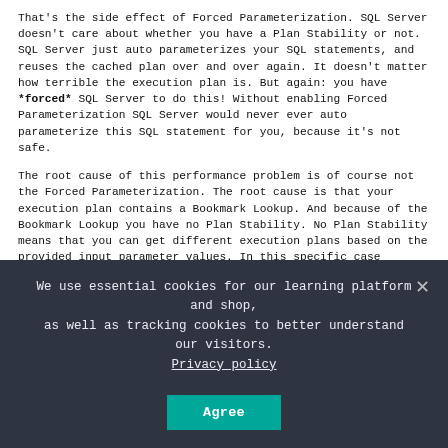That's the side effect of Forced Parameterization. SQL Server doesn't care about whether you have a Plan Stability or not. SQL Server just auto parameterizes your SQL statements, and reuses the cached plan over and over again. It doesn't matter how terrible the execution plan is. But again: you have *forced* SQL Server to do this! Without enabling Forced Parameterization SQL Server would never ever auto parameterize this SQL statement for you, because it's not safe.
The root cause of this performance problem is of course not the Forced Parameterization. The root cause is that your execution plan contains a Bookmark Lookup. And because of the Bookmark Lookup you have no Plan Stability. No Plan Stability means that you can get different execution plans based on the provided input parameter values. In this specific case sometimes you get a Bookmark Lookup (with a selective input parameter value, and sometimes a Table Scan (with a non-selective input parameter value).
In this situation if you worked on your indexing strategy and you defined a
We use essential cookies for our learning platform and shop, as well as tracking cookies to better understand our visitors.
Privacy policy
Agree